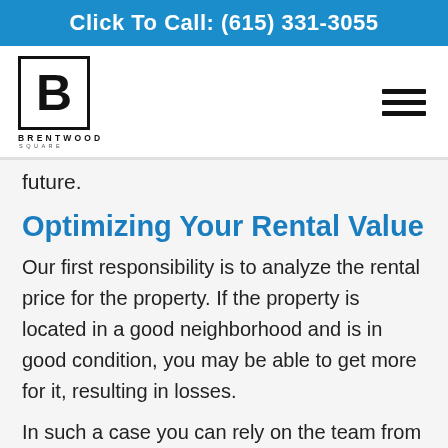Click To Call: (615) 331-3055
[Figure (logo): Brentwood Square logo — bold B inside a square outline, with BRENTWOOD in bold uppercase and SQUARE in smaller spaced uppercase below]
future.
Optimizing Your Rental Value
Our first responsibility is to analyze the rental price for the property. If the property is located in a good neighborhood and is in good condition, you may be able to get more for it, resulting in losses.
In such a case you can rely on the team from